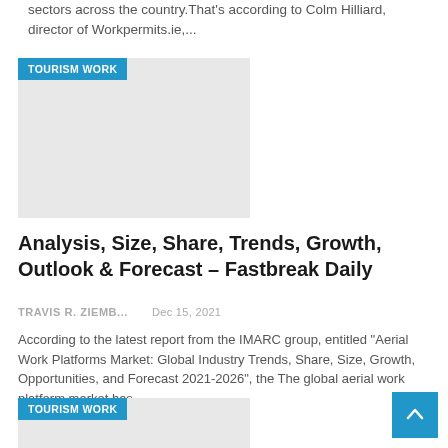sectors across the country.That's according to Colm Hilliard, director of Workpermits.ie,...
[Figure (photo): Card image placeholder with TOURISM WORK badge label]
Analysis, Size, Share, Trends, Growth, Outlook & Forecast – Fastbreak Daily
TRAVIS R. ZIEMB...   Dec 15, 2021
According to the latest report from the IMARC group, entitled "Aerial Work Platforms Market: Global Industry Trends, Share, Size, Growth, Opportunities, and Forecast 2021-2026", the The global aerial work platform market has...
[Figure (photo): Card image placeholder with TOURISM WORK badge label]